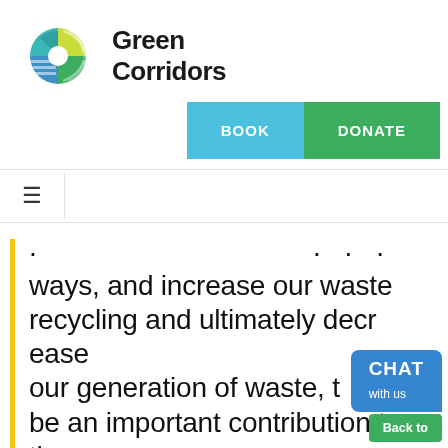[Figure (logo): Green Corridors logo: circular icon with teal, green, yellow and blue segments, next to bold text 'Green Corridors']
BOOK   DONATE
≡ (hamburger menu icon / navigation bar)
ways, and increase our waste recycling and ultimately decrease our generation of waste, t... be an important contribution to the
CHAT with us
Back to